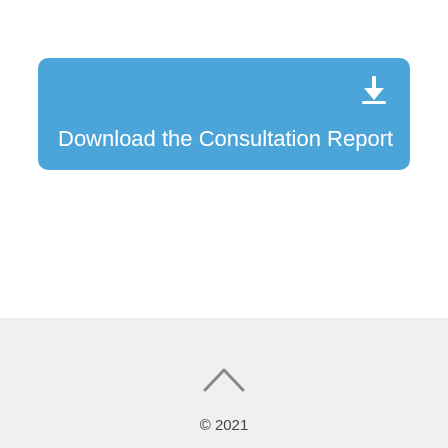[Figure (other): Blue rounded rectangle button with a download icon (arrow pointing down into a tray) in the top-right corner and the text 'Download the Consultation Report' in white on the bottom-left.]
© 2021